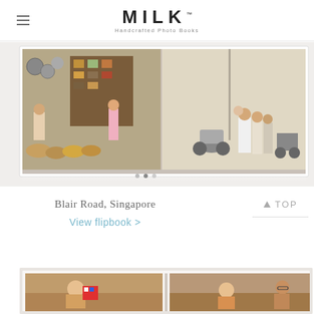MILK™ Handcrafted Photo Books
[Figure (photo): Open photo book spread showing a Singapore street mural with a traditional shop on the left page and a family standing in front of a moped and street vendor on the right page]
Blair Road, Singapore
View flipbook >
TOP
[Figure (photo): Partial view of another open photo book spread showing two photos of a young child sitting on a couch, with an adult visible on the right]